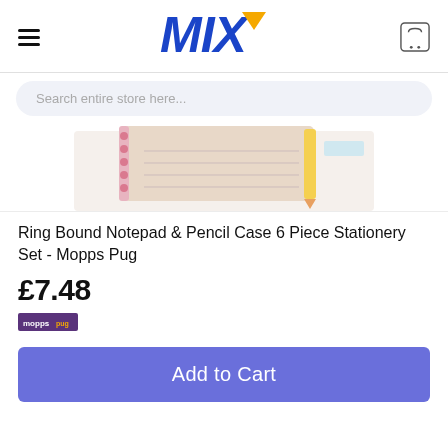MIX
Search entire store here...
[Figure (photo): Partial product image showing a ring bound notepad and pencil case stationery set with pink spiral binding]
Ring Bound Notepad & Pencil Case 6 Piece Stationery Set - Mopps Pug
£7.48
[Figure (logo): Mopps Pug brand badge in purple]
Add to Cart